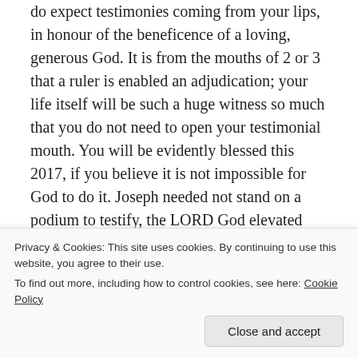do expect testimonies coming from your lips, in honour of the beneficence of a loving, generous God. It is from the mouths of 2 or 3 that a ruler is enabled an adjudication; your life itself will be such a huge witness so much that you do not need to open your testimonial mouth. You will be evidently blessed this 2017, if you believe it is not impossible for God to do it. Joseph needed not stand on a podium to testify, the LORD God elevated him like the Everest and like the lighthouse he needed not be sought for. Your success will be evident in Jesus' name.
[Figure (other): Social sharing icons: a blue circle (Twitter/social), a dark blue rectangle (Facebook), and a red rectangle (Pinterest)]
Privacy & Cookies: This site uses cookies. By continuing to use this website, you agree to their use.
To find out more, including how to control cookies, see here: Cookie Policy